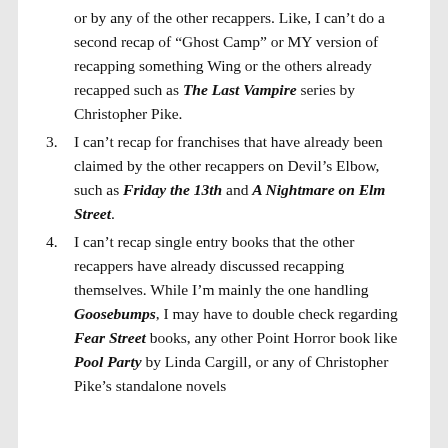(continuation) or by any of the other recappers. Like, I can't do a second recap of “Ghost Camp” or MY version of recapping something Wing or the others already recapped such as The Last Vampire series by Christopher Pike.
3. I can't recap for franchises that have already been claimed by the other recappers on Devil's Elbow, such as Friday the 13th and A Nightmare on Elm Street.
4. I can't recap single entry books that the other recappers have already discussed recapping themselves. While I'm mainly the one handling Goosebumps, I may have to double check regarding Fear Street books, any other Point Horror book like Pool Party by Linda Cargill, or any of Christopher Pike's standalone novels